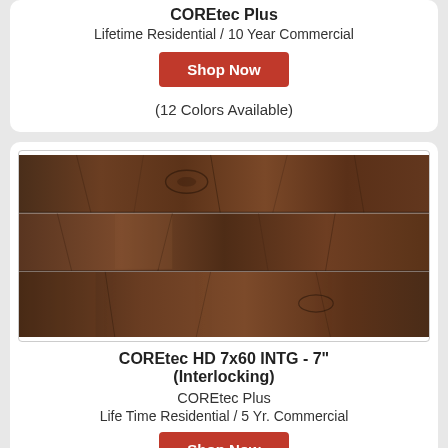COREtec Plus
Lifetime Residential / 10 Year Commercial
Shop Now
(12 Colors Available)
[Figure (photo): Close-up photo of dark walnut wood-look vinyl plank flooring with visible grain texture and plank seams.]
COREtec HD 7x60 INTG - 7" (Interlocking)
COREtec Plus
Life Time Residential / 5 Yr. Commercial
Shop Now